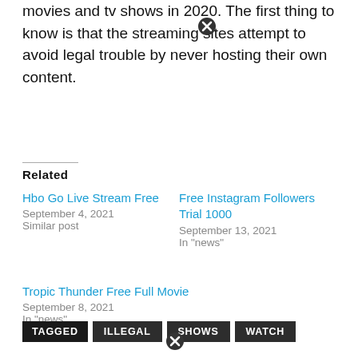movies and tv shows in 2020. The first thing to know is that the streaming sites attempt to avoid legal trouble by never hosting their own content.
Related
Hbo Go Live Stream Free
September 4, 2021
Similar post
Free Instagram Followers Trial 1000
September 13, 2021
In "news"
Tropic Thunder Free Full Movie
September 8, 2021
In "news"
TAGGED  ILLEGAL  SHOWS  WATCH